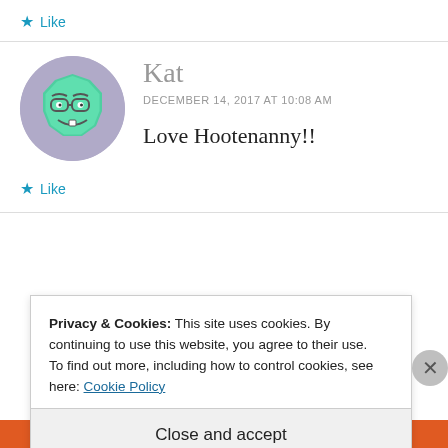★ Like
[Figure (illustration): Circular avatar with purple/lavender border showing a cartoon green octagon-shaped character wearing glasses with a smile]
Kat
DECEMBER 14, 2017 AT 10:08 AM
Love Hootenanny!!
★ Like
Privacy & Cookies: This site uses cookies. By continuing to use this website, you agree to their use.
To find out more, including how to control cookies, see here: Cookie Policy
Close and accept